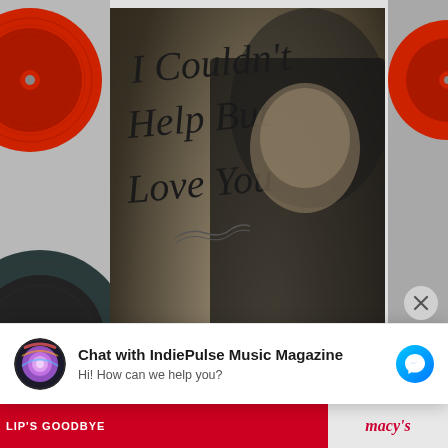[Figure (illustration): Album cover for 'I Couldn't Help But Love You' by Karen Lawrence. Shows a woman with auburn hair holding an acoustic guitar against a textured sepia background. Title text in cursive script at top left, artist name 'karen lawrence' in bold lowercase serif at bottom.]
[Figure (screenshot): Facebook Messenger chat widget overlay. Shows a circular avatar with colorful CD/record graphic, text 'Chat with IndiePulse Music Magazine' in bold, 'Hi! How can we help you?' subtitle, and a blue Messenger icon button on the right. An X close button appears at top right of the widget.]
Chat with IndiePulse Music Magazine
Hi! How can we help you?